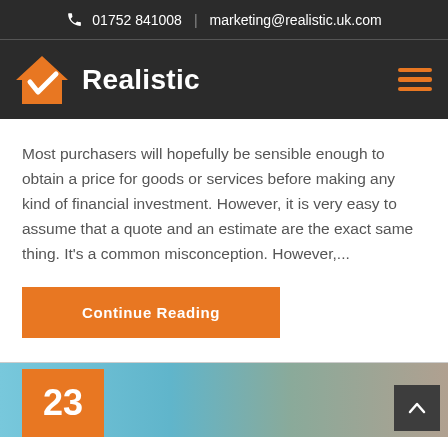01752 841008 | marketing@realistic.uk.com
[Figure (logo): Realistic logo: orange house with white checkmark, white bold text 'Realistic']
Most purchasers will hopefully be sensible enough to obtain a price for goods or services before making any kind of financial investment. However, it is very easy to assume that a quote and an estimate are the exact same thing. It's a common misconception. However,...
Continue Reading
[Figure (photo): Bottom partial image showing a window/door frame on the left and a person working at a desk on the right, with an orange date box showing '23']